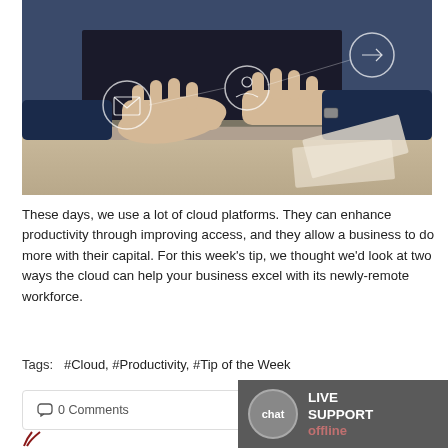[Figure (photo): Person typing on a laptop with cloud/network technology icons overlaid on the image]
These days, we use a lot of cloud platforms. They can enhance productivity through improving access, and they allow a business to do more with their capital. For this week's tip, we thought we'd look at two ways the cloud can help your business excel with its newly-remote workforce.
Tags:  #Cloud, #Productivity, #Tip of the Week
0 Comments
Continue reading
[Figure (logo): Partial logo visible at bottom left]
LIVE SUPPORT offline